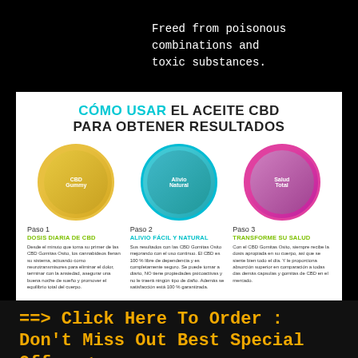Freed from poisonous combinations and toxic substances.
[Figure (infographic): Infographic showing how to use CBD oil for results (Como usar el aceite CBD para obtener resultados) with three steps: Paso 1 - Dosis Diaria de CBD, Paso 2 - Alivio Facil y Natural, Paso 3 - Transforme Su Salud. Each step has a circular photo and description text in Spanish.]
==> Click Here To Order : Don't Miss Out Best Special Offer <==
Are Gomitas Osito Canada & USA Safe to Use?